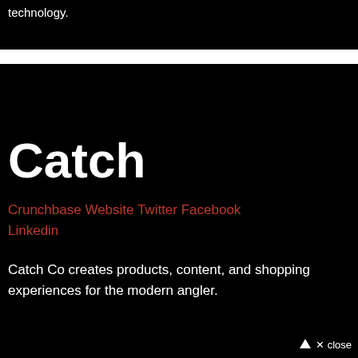technology.
Catch
Crunchbase Website Twitter Facebook Linkedin
Catch Co creates products, content, and shopping experiences for the modern angler.